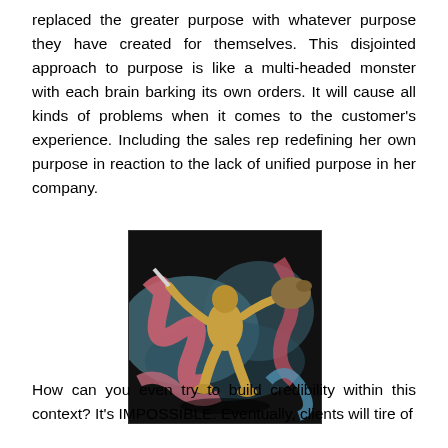replaced the greater purpose with whatever purpose they have created for themselves. This disjointed approach to purpose is like a multi-headed monster with each brain barking its own orders. It will cause all kinds of problems when it comes to the customer's experience. Including the sales rep redefining her own purpose in reaction to the lack of unified purpose in her company.
[Figure (illustration): A classical illustration of a golden muscular warrior figure fighting a multi-headed monster or serpentine creature, set against a colorful mythological background with serpents, pinks and blues.]
How can you even try to build credibility within this context? It's IMPOSSIBLE. Eventually, clients will tire of